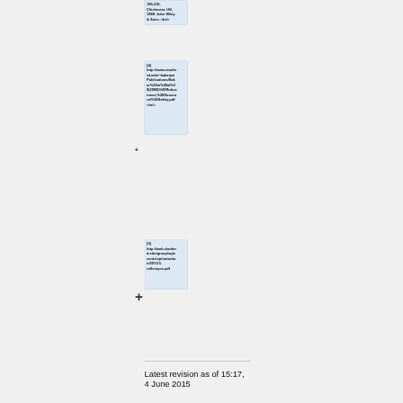[reference top] 195-210, Chichester, UK, 1989. John Wiley & Sons. <br/>
[4] http://www.stanford.edu/~bakerjw/Publications/Baker%20et%20al%20(2008)%20Robustness,%20Structural%20Safety.pdf <br/>
[5] http://web.stanford.edu/group/uq/events/optimization/2011/3-rollsroyce.pdf
Latest revision as of 15:17, 4 June 2015